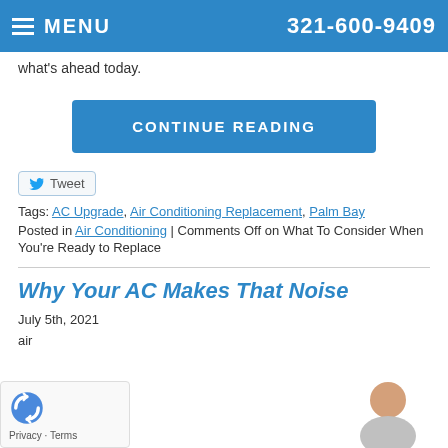MENU  321-600-9409
what's ahead today.
CONTINUE READING
Tweet
Tags: AC Upgrade, Air Conditioning Replacement, Palm Bay
Posted in Air Conditioning | Comments Off on What To Consider When You're Ready to Replace
Why Your AC Makes That Noise
July 5th, 2021
air